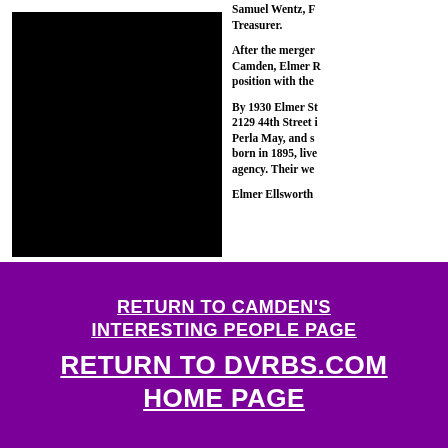[Figure (photo): Black rectangular photo area (image content not visible)]
Samuel Wentz, F... Treasurer.
After the merger... Camden, Elmer R... position with the...
By 1930 Elmer St... 2129 44th Street... Perla May, and s... born in 1895, live... agency. Their we...
Elmer Ellsworth...
RETURN TO CAMDEN'S INTERESTING PEOPLE PAGE
RETURN TO DVRBS.COM HOME PAGE